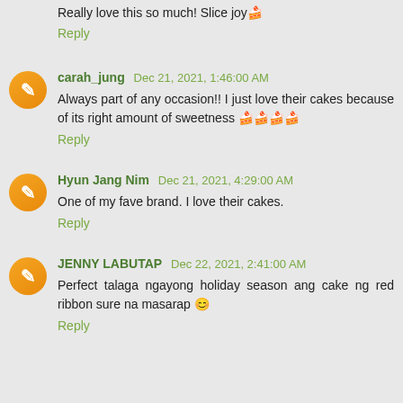Really love this so much! Slice joy🍰
Reply
carah_jung Dec 21, 2021, 1:46:00 AM
Always part of any occasion!! I just love their cakes because of its right amount of sweetness 🍰🍰🍰🍰
Reply
Hyun Jang Nim Dec 21, 2021, 4:29:00 AM
One of my fave brand. I love their cakes.
Reply
JENNY LABUTAP Dec 22, 2021, 2:41:00 AM
Perfect talaga ngayong holiday season ang cake ng red ribbon sure na masarap 😊
Reply